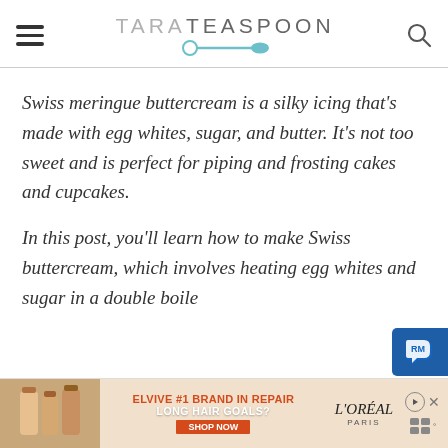TARA TEASPOON
Swiss meringue buttercream is a silky icing that's made with egg whites, sugar, and butter. It's not too sweet and is perfect for piping and frosting cakes and cupcakes.
In this post, you'll learn how to make Swiss buttercream, which involves heating egg whites and sugar in a double boil...
[Figure (other): L'Oreal Elvive advertisement banner at bottom of page. Text: ELVIVE #1 BRAND IN REPAIR, LONG HAIR GOALS?, SHOP NOW, L'OREAL PARIS]